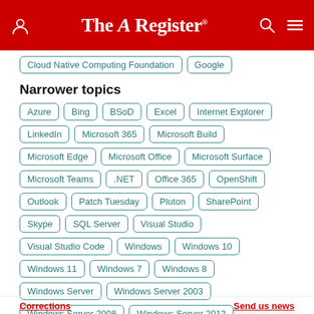The Register
Cloud Native Computing Foundation
Google
Narrower topics
Azure
Bing
BSoD
Excel
Internet Explorer
LinkedIn
Microsoft 365
Microsoft Build
Microsoft Edge
Microsoft Office
Microsoft Surface
Microsoft Teams
.NET
Office 365
OpenShift
Outlook
Patch Tuesday
Pluton
SharePoint
Skype
SQL Server
Visual Studio
Visual Studio Code
Windows
Windows 10
Windows 11
Windows 7
Windows 8
Windows Server
Windows Server 2003
Windows Server 2008
Windows Server 2012
Windows Server 2013
Windows Server 2016
Windows XP
Xbox
Xbox 360
Corrections   Send us news